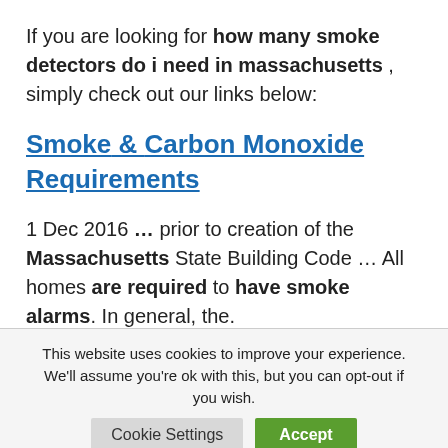If you are looking for how many smoke detectors do i need in massachusetts , simply check out our links below:
Smoke & Carbon Monoxide Requirements
1 Dec 2016 … prior to creation of the Massachusetts State Building Code … All homes are required to have smoke alarms. In general, the.
This website uses cookies to improve your experience. We'll assume you're ok with this, but you can opt-out if you wish.